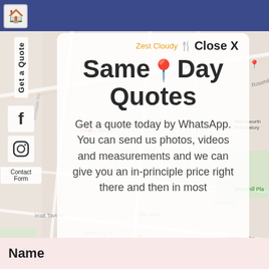[Figure (screenshot): A screenshot of a website showing a Google Maps background with street names (Rosehill Rd, Melody Rd, etc.), a dark blue top navigation bar with a house icon, a left sidebar with 'Get a Quote' vertical text, Facebook and Instagram icons, and a 'Contact Form' link. A modal popup shows 'Zest Cloudy' with a map pin icon and 'Close X' button, the heading 'Same Day Quotes', and body text about getting a WhatsApp quote. At the bottom is a name input bar.]
Same Day Quotes
Get a quote today by WhatsApp. You can send us photos, videos and measurements and we can give you an in-principle price right there and then in most
Get a Quote
Contact Form
Name